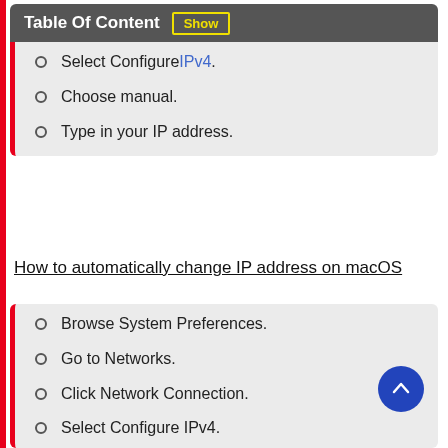Table Of Content  Show
Select Configure IPv4.
Choose manual.
Type in your IP address.
How to automatically change IP address on macOS
Browse System Preferences.
Go to Networks.
Click Network Connection.
Select Configure IPv4.